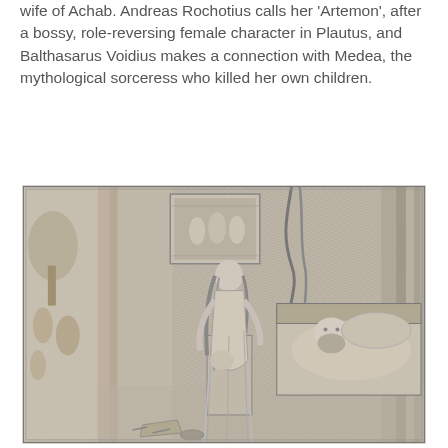wife of Achab. Andreas Rochotius calls her 'Artemon', after a bossy, role-reversing female character in Plautus, and Balthasarus Voidius makes a connection with Medea, the mythological sorceress who killed her own children.
[Figure (illustration): A historical engraving (woodcut or copperplate style) depicting an interior scene. A woman with long hair stands in the center of the room. To her right, a bearded man lies in bed. The room has detailed wall textures with hatching lines. In the upper left corner, there is a smaller framed scene with additional figures. Objects are scattered on the floor. The style suggests a 16th or 17th century artwork.]